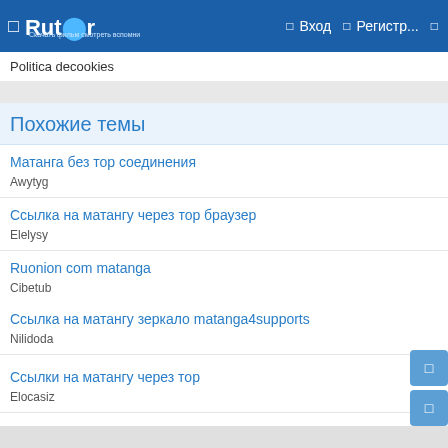Rutor — Вход Регистр...
Politica decookies
Похожие темы
Матанга без тор соединения
Awytyg
Ссылка на матангу через тор браузер
Elelysy
Ruonion com matanga
Cibetub
Ссылка на матангу зеркало matanga4supports
Nilidoda
Ссылки на матангу через тор
Elocasiz